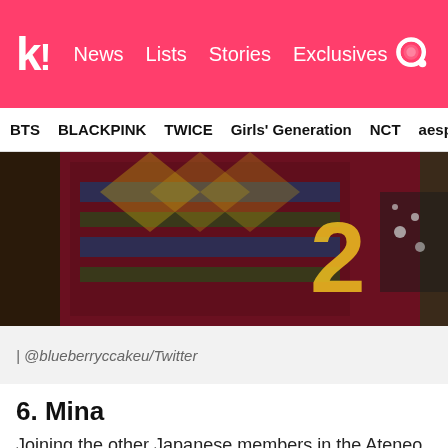k! News Lists Stories Exclusives
BTS  BLACKPINK  TWICE  Girls' Generation  NCT  aespa
[Figure (photo): Close-up photo of people wearing traditional colorful patterned clothing with yellow letter visible]
| @blueberryccakeu/Twitter
6. Mina
Joining the other Japanese members in the Ateneo de Manila University is none other than Mina.
[Figure (photo): Dark blue/gray photo at bottom of page, partially visible]